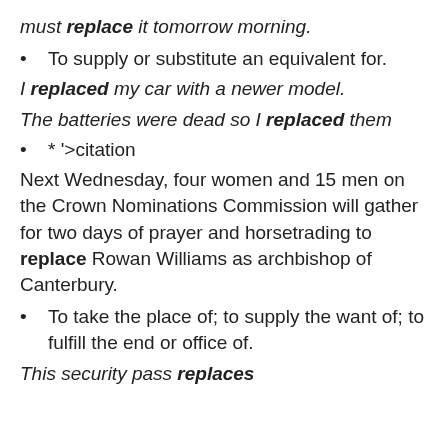must replace it tomorrow morning.
To supply or substitute an equivalent for.
I replaced my car with a newer model.
The batteries were dead so I replaced them
* '>citation
Next Wednesday, four women and 15 men on the Crown Nominations Commission will gather for two days of prayer and horsetrading to replace Rowan Williams as archbishop of Canterbury.
To take the place of; to supply the want of; to fulfill the end or office of.
This security pass replaces